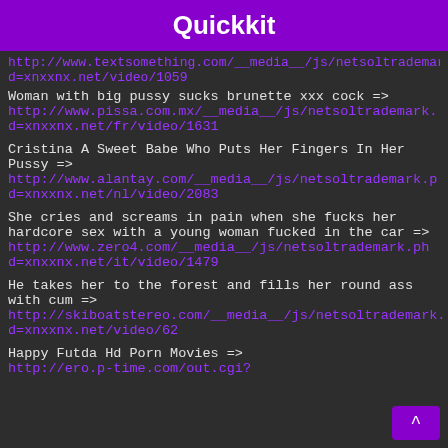Quickkit
http://www.textsomething.com/__media__/js/netsoltrademark...d=xnxxnx.net/video/1059
Woman with big pussy sucks brunette xxx cock => http://www.pissa.com.mx/__media__/js/netsoltrademark.d=xnxxnx.net/fr/video/1631
Cristina A Sweet Babe Who Puts Her Fingers In Her Pussy => http://www.alantay.com/__media__/js/netsoltrademark.pd=xnxxnx.net/nl/video/2083
She cries and screams in pain when she fucks her hardcore sex with a young woman fucked in the car => http://www.zero4.com/__media__/js/netsoltrademark.phpd=xnxxnx.net/it/video/1479
He takes her to the forest and fills her round ass with cum => http://skiboatstereo.com/__media__/js/netsoltrademark.d=xnxxnx.net/video/62
Happy Futda Hd Porn Movies => http://ero.p-time.com/out.cgi?